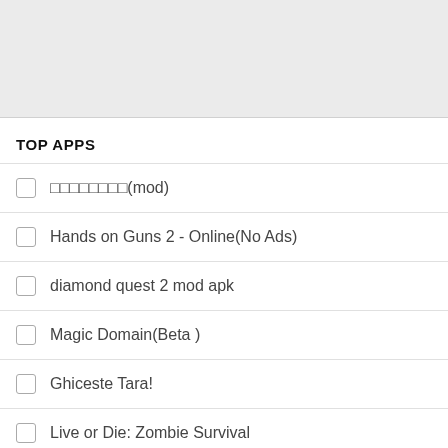[Figure (other): Gray advertisement banner placeholder at the top of the page]
TOP APPS
□□□□□□□□(mod)
Hands on Guns 2 - Online(No Ads)
diamond quest 2 mod apk
Magic Domain(Beta )
Ghiceste Tara!
Live or Die: Zombie Survival